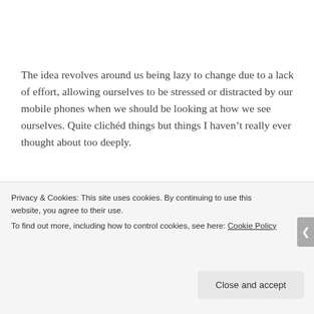The idea revolves around us being lazy to change due to a lack of effort, allowing ourselves to be stressed or distracted by our mobile phones when we should be looking at how we see ourselves. Quite clichéd things but things I haven't really ever thought about too deeply.
Last week I was in a horrendous mood because of the rain. Sounds stupid, but I don't own a coat with a hood, I recently found out there are problems with my tax from my last job, I
Privacy & Cookies: This site uses cookies. By continuing to use this website, you agree to their use.
To find out more, including how to control cookies, see here: Cookie Policy